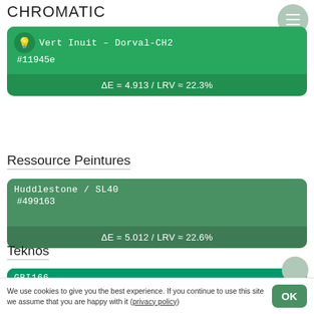CHROMATIC
Vert Inuit - Dorval-CH2
#11945e
ΔE = 4.913 / LRV ≈ 22.3%
Ressource Peintures
Huddlestone / SL40
#499163
ΔE = 5.012 / LRV ≈ 22.6%
Teknos
GBI166
#009969
ΔE = 5.050 / LRV ≈ 23.8%
We use cookies to give you the best experience. If you continue to use this site we assume that you are happy with it (privacy policy)